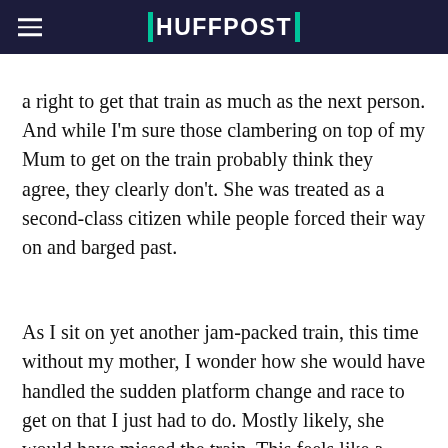HUFFPOST
a right to get that train as much as the next person. And while I'm sure those clambering on top of my Mum to get on the train probably think they agree, they clearly don't. She was treated as a second-class citizen while people forced their way on and barged past.
As I sit on yet another jam-packed train, this time without my mother, I wonder how she would have handled the sudden platform change and race to get on that I just had to do. Mostly likely, she would have missed the train. This feels like a metaphor for the bigger issue, are we leaving all those living with disabilities behind at the train station?